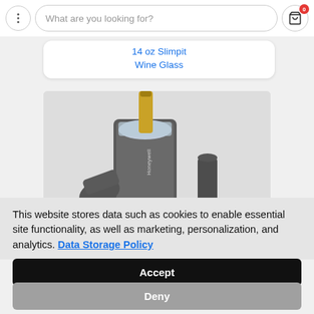[Figure (screenshot): Mobile app navigation bar with three-dot menu, search bar saying 'What are you looking for?', and shopping cart icon with red badge showing '0']
14 oz Slimfit Wine Glass
[Figure (photo): Product photo showing branded Honeywell stainless steel wine chillers and bottle cooler with champagne bottle on ice]
This website stores data such as cookies to enable essential site functionality, as well as marketing, personalization, and analytics. Data Storage Policy
Accept
Deny